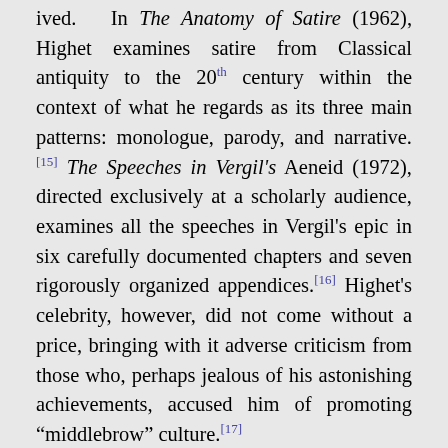ived. In The Anatomy of Satire (1962), Highet examines satire from Classical antiquity to the 20th century within the context of what he regards as its three main patterns: monologue, parody, and narrative.[15] The Speeches in Vergil's Aeneid (1972), directed exclusively at a scholarly audience, examines all the speeches in Vergil's epic in six carefully documented chapters and seven rigorously organized appendices.[16] Highet's celebrity, however, did not come without a price, bringing with it adverse criticism from those who, perhaps jealous of his astonishing achievements, accused him of promoting “middlebrow” culture.[17]